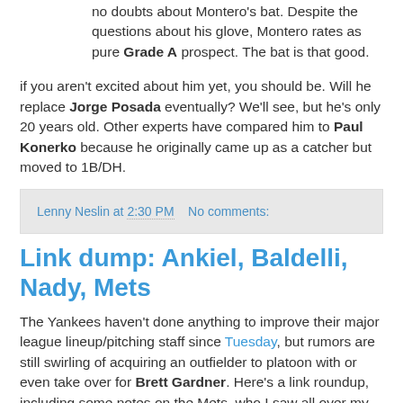no doubts about Montero's bat. Despite the questions about his glove, Montero rates as pure Grade A prospect. The bat is that good.
if you aren't excited about him yet, you should be. Will he replace Jorge Posada eventually? We'll see, but he's only 20 years old. Other experts have compared him to Paul Konerko because he originally came up as a catcher but moved to 1B/DH.
Lenny Neslin at 2:30 PM   No comments:
Link dump: Ankiel, Baldelli, Nady, Mets
The Yankees haven't done anything to improve their major league lineup/pitching staff since Tuesday, but rumors are still swirling of acquiring an outfielder to platoon with or even take over for Brett Gardner. Here's a link roundup, including some notes on the Mets, who I saw all over my Google Reader this morning.